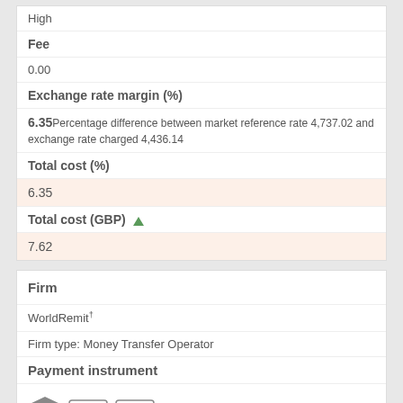High
Fee
0.00
Exchange rate margin (%)
6.35 Percentage difference between market reference rate 4,737.02 and exchange rate charged 4,436.14
Total cost (%)
6.35
Total cost (GBP)
7.62
Firm
WorldRemit
Firm type: Money Transfer Operator
Payment instrument
[Figure (illustration): Icons representing payment instruments: bank transfer, credit card, debit card]
Access point
Internet
Sending network coverage
High
Transfer speed